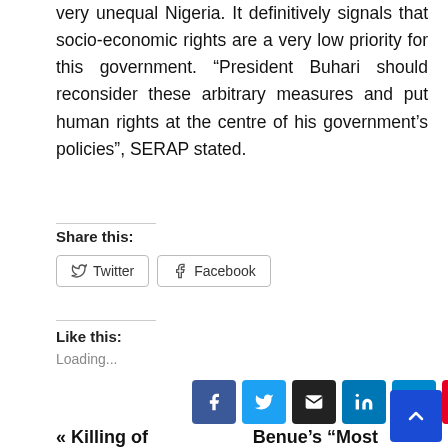very unequal Nigeria. It definitively signals that socio-economic rights are a very low priority for this government. “President Buhari should reconsider these arbitrary measures and put human rights at the centre of his government’s policies”, SERAP stated.
Share this:
Twitter  Facebook
Like this:
Loading...
« Killing of
Benue’s “Most